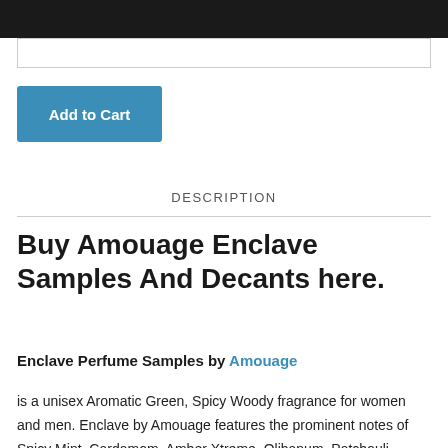[Figure (other): Search input bar]
[Figure (other): Add to Cart button]
DESCRIPTION
Buy Amouage Enclave Samples And Decants here.
Enclave Perfume Samples by Amouage
is a unisex Aromatic Green, Spicy Woody fragrance for women and men. Enclave by Amouage features the prominent notes of Spicy Mint, Cardamom, Amber Xtreme, Olibanum, Patchouli, Labdanum,